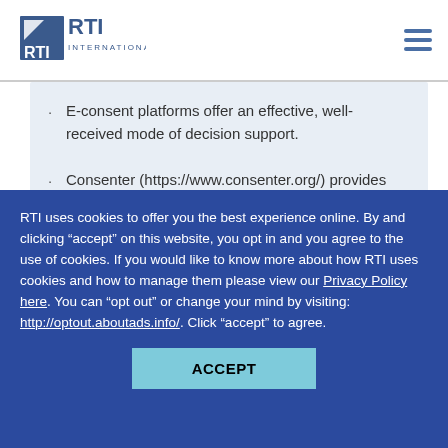RTI International
E-consent platforms offer an effective, well-received mode of decision support.
Consenter (https://www.consenter.org/) provides decision support for clinical trials including people with limited cognitive capacity.
Abstract
RTI uses cookies to offer you the best experience online. By and clicking “accept” on this website, you opt in and you agree to the use of cookies. If you would like to know more about how RTI uses cookies and how to manage them please view our Privacy Policy here. You can “opt out” or change your mind by visiting: http://optout.aboutads.info/. Click “accept” to agree.